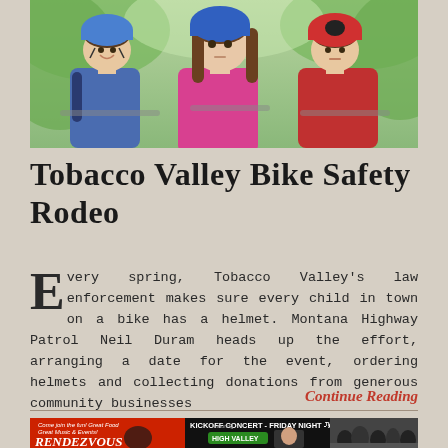[Figure (photo): Three children wearing bike helmets outdoors, smiling at camera on a sunny day with green trees in background]
Tobacco Valley Bike Safety Rodeo
Every spring, Tobacco Valley's law enforcement makes sure every child in town on a bike has a helmet. Montana Highway Patrol Neil Duram heads up the effort, arranging a date for the event, ordering helmets and collecting donations from generous community businesses
Continue Reading
[Figure (infographic): Bottom banner advertisement for Rendezvous event - Kickoff Concert Friday Night April 29th featuring High Valley, with crowd photo on right side. Text: Come join the fun! Great Food Great Music & Events!]